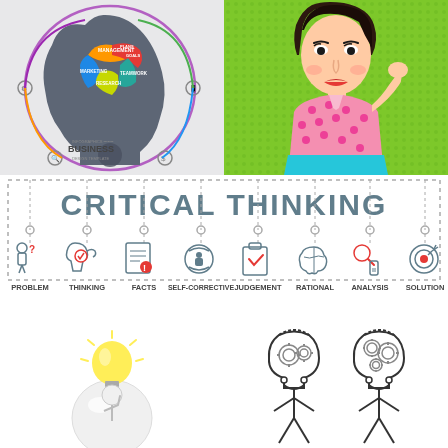[Figure (infographic): Brain infographic with colorful sections labeled Management, Plans/Goals, Teamwork, Marketing, Research inside a human head silhouette with gears, labeled 'Infographics Business Design Template']
[Figure (illustration): Pop art style illustration of a woman in pink polka dot top and teal skirt, touching her chin thoughtfully, on bright green halftone background]
[Figure (infographic): Critical Thinking infographic with dashed border and title 'CRITICAL THINKING' followed by 8 icons labeled: PROBLEM, THINKING, FACTS, SELF-CORRECTIVE, JUDGEMENT, RATIONAL, ANALYSIS, SOLUTION]
[Figure (illustration): White 3D figure/character sitting on a sphere with a yellow light bulb floating above, representing ideas]
[Figure (illustration): Two stick figures with gears/cogs visible inside their open heads, representing thinking and mental processes]